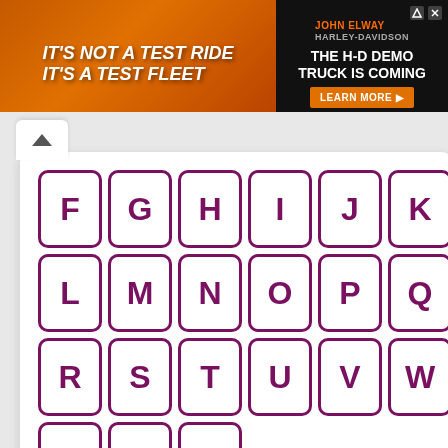[Figure (other): Advertisement banner: orange truck background on left with text IT'S NOT A TEST RIDE IT'S A TEST FLEET, right side black with JOHN ELWAY HARLEY-DAVIDSON logo and THE H-D DEMO TRUCK IS COMING text, LEARN MORE button]
[Figure (other): Alphabetical letter navigation grid showing letters F through Z in purple-bordered white boxes arranged in rows of 6 letters each]
F G H I J K L M N O P Q R S T U V W X Y Z